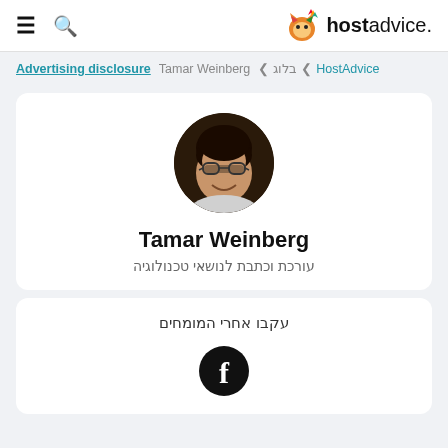≡ 🔍  hostadvice.
Advertising disclosure  HostAdvice ❮ בלוג ❮ Tamar Weinberg
[Figure (photo): Circular profile photo of Tamar Weinberg, a woman with dark hair and glasses, smiling]
Tamar Weinberg
עורכת וכתבת לנושאי טכנולוגיה
עקבו אחרי המומחים
[Figure (logo): Facebook icon - white f on black circle]